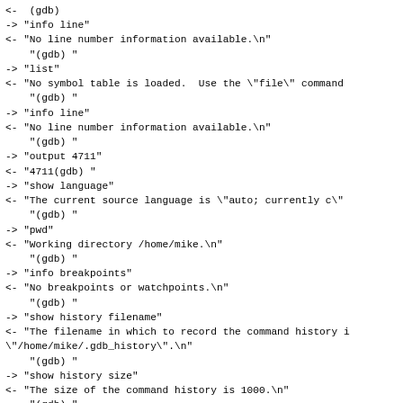<- (gdb)
-> "info line"
<- "No line number information available.\n"
   "(gdb) "
-> "list"
<- "No symbol table is loaded.  Use the \"file\" command
   "(gdb) "
-> "info line"
<- "No line number information available.\n"
   "(gdb) "
-> "output 4711"
<- "4711(gdb) "
-> "show language"
<- "The current source language is \"auto; currently c\"
   "(gdb) "
-> "pwd"
<- "Working directory /home/mike.\n"
   "(gdb) "
-> "info breakpoints"
<- "No breakpoints or watchpoints.\n"
   "(gdb) "
-> "show history filename"
<- "The filename in which to record the command history i
\"/home/mike/.gdb_history\".
   "(gdb) "
-> "show history size"
<- "The size of the command history is 1000.\n"
   "(gdb) "
-> "info source"
<- "No current source file.\n"
   "(gdb) "